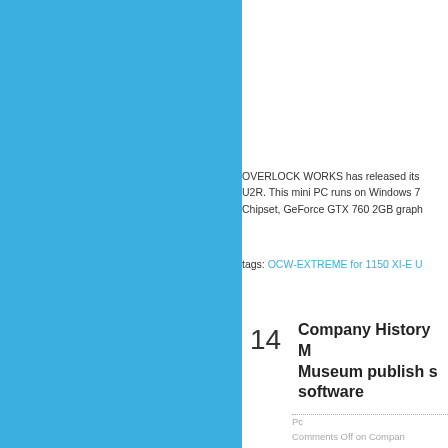[Figure (other): Solid sky-blue rectangular panel on the left side of the page]
OVERLOCK WORKS has released its U2R. This mini PC runs on Windows 7 Chipset, GeForce GTX 760 2GB graph
tags: OCW-EXTREME for 1150 XI-E U
Company History Museum publish s software
14
Pc
Comments Off on Compan source codes for historic A